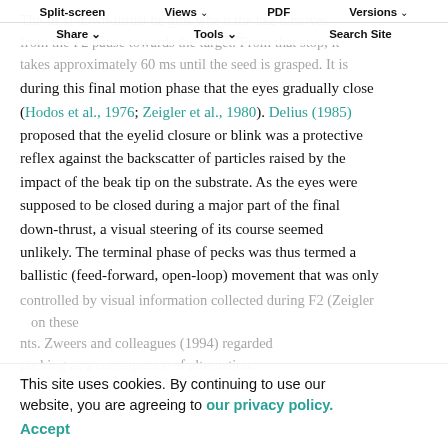Split-screen  Views  PDF  Versions  Share  Tools  Search Site
The first down-thrust begins when the head moves from the F2 pause towards the target. From that stop, it takes approximately 60 ms until the seed is grasped. It is during this final motion phase that the eyes gradually close (Hodos et al., 1976; Zeigler et al., 1980). Delius (1985) proposed that the eyelid closure or blink was a protective reflex against the backscatter of particles raised by the impact of the beak tip on the substrate. As the eyes were supposed to be closed during a major part of the final down-thrust, a visual steering of its course seemed unlikely. The terminal phase of pecks was thus termed a ballistic (feed-forward, open-loop) movement that was only controlled by visual information collected during F2 (Zeigler ... on these ... nts. Zweers and colleagues (1994) regarded pecking as a consequence of alternation...
This site uses cookies. By continuing to use our website, you are agreeing to our privacy policy. Accept